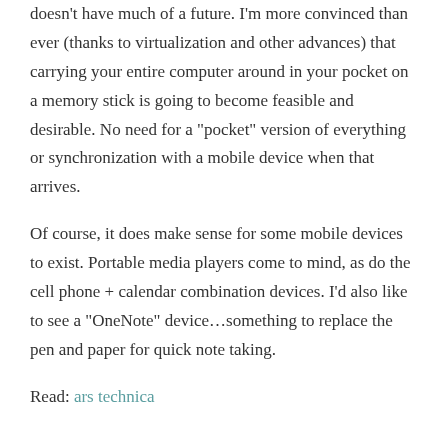doesn't have much of a future. I'm more convinced than ever (thanks to virtualization and other advances) that carrying your entire computer around in your pocket on a memory stick is going to become feasible and desirable. No need for a "pocket" version of everything or synchronization with a mobile device when that arrives.
Of course, it does make sense for some mobile devices to exist. Portable media players come to mind, as do the cell phone + calendar combination devices. I'd also like to see a "OneNote" device…something to replace the pen and paper for quick note taking.
Read: ars technica